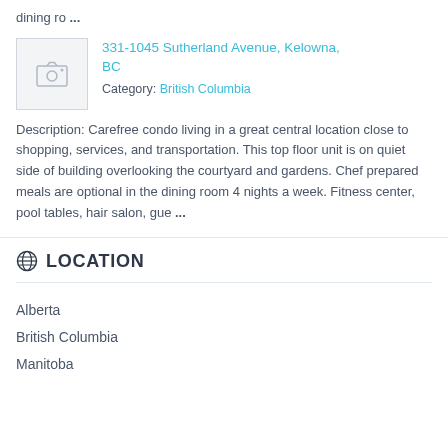dining ro ...
[Figure (photo): Photo placeholder with camera icon for listing at 331-1045 Sutherland Avenue, Kelowna, BC]
331-1045 Sutherland Avenue, Kelowna, BC
Category: British Columbia
Description: Carefree condo living in a great central location close to shopping, services, and transportation. This top floor unit is on quiet side of building overlooking the courtyard and gardens. Chef prepared meals are optional in the dining room 4 nights a week. Fitness center, pool tables, hair salon, gue ...
LOCATION
Alberta
British Columbia
Manitoba